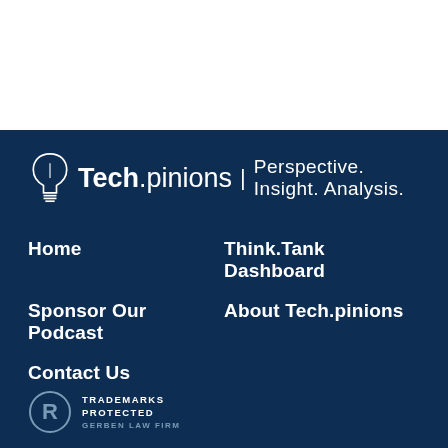[Figure (logo): Tech.pinions logo with lightbulb icon and tagline: Perspective. Insight. Analysis.]
Home
Think.Tank Dashboard
Sponsor Our Podcast
About Tech.pinions
Contact Us
[Figure (logo): Registered trademark badge with text: TRADEMARKS PROTECTED / GERBEN LAW FIRM]